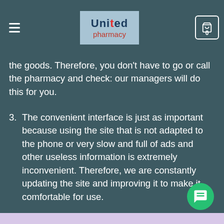United pharmacy
that your product will reach the pharmacy in the shortest possible time. Be informed about the delivery time in advance and notified of the arrival of the goods. Therefore, you don't have to go or call the pharmacy and check: our managers will do this for you.
3. The convenient interface is just as important because using the site that is not adapted to the phone or very slow and full of ads and other useless information is extremely inconvenient. Therefore, we are constantly updating the site and improving it to make it comfortable for use.